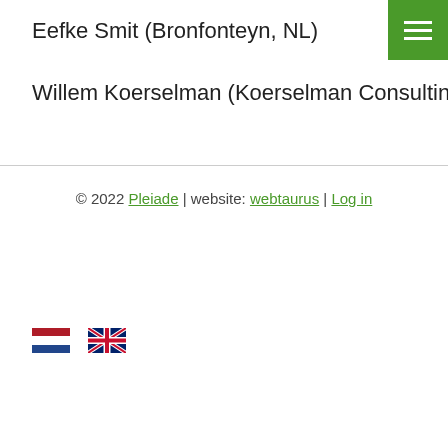Eefke Smit (Bronfonteyn, NL)
Willem Koerselman (Koerselman Consulting, NL)
© 2022 Pleiade | website: webtaurus | Log in
[Figure (illustration): Dutch flag icon and UK flag icon for language selection]